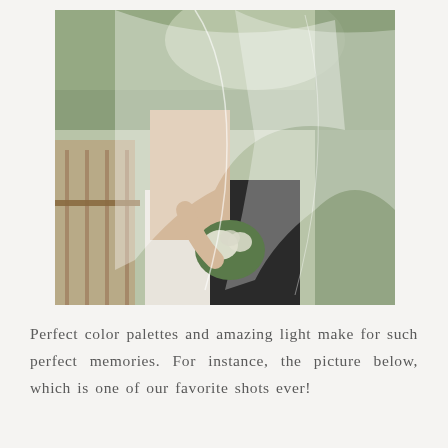[Figure (photo): Wedding photo of a bride and groom embracing. The bride wears a white beaded/lace mermaid gown and holds a green and white floral bouquet. A sheer wedding veil drapes over both of them. The background shows wooden deck railings and green trees.]
Perfect color palettes and amazing light make for such perfect memories. For instance, the picture below, which is one of our favorite shots ever!